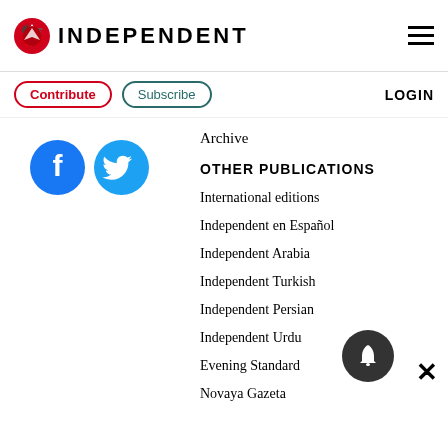[Figure (logo): The Independent newspaper logo with eagle icon and INDEPENDENT text]
[Figure (illustration): Hamburger menu icon (three horizontal lines)]
Contribute
Subscribe
LOGIN
Archive
OTHER PUBLICATIONS
International editions
Independent en Español
Independent Arabia
Independent Turkish
Independent Persian
Independent Urdu
Evening Standard
Novaya Gazeta
[Figure (logo): Facebook social media icon (blue circle with F)]
[Figure (logo): Twitter social media icon (blue circle with bird)]
[Figure (illustration): Notification bell button (dark gray circle)]
[Figure (illustration): Close/X button]